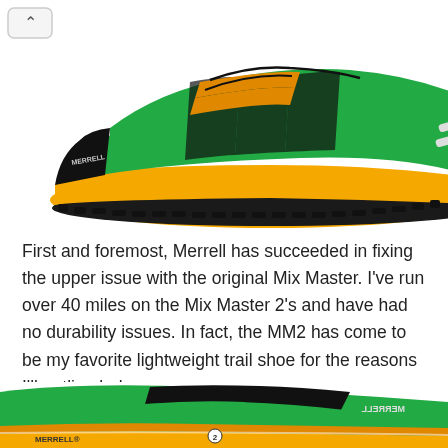[Figure (photo): Side view of Merrell Mix Master 2 trail running shoe in green and orange/yellow colorway with black accents on white background]
First and foremost, Merrell has succeeded in fixing the upper issue with the original Mix Master. I've run over 40 miles on the Mix Master 2's and have had no durability issues. In fact, the MM2 has come to be my favorite lightweight trail shoe for the reasons I'll outline below.
[Figure (photo): Bottom/sole view of Merrell Mix Master 2 trail running shoe in green and orange/yellow colorway, showing outsole tread pattern]